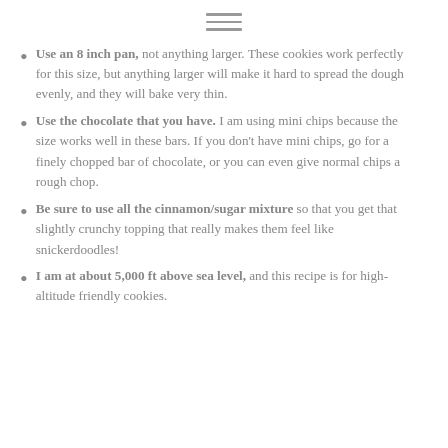≡
Use an 8 inch pan, not anything larger. These cookies work perfectly for this size, but anything larger will make it hard to spread the dough evenly, and they will bake very thin.
Use the chocolate that you have. I am using mini chips because the size works well in these bars. If you don't have mini chips, go for a finely chopped bar of chocolate, or you can even give normal chips a rough chop.
Be sure to use all the cinnamon/sugar mixture so that you get that slightly crunchy topping that really makes them feel like snickerdoodles!
I am at about 5,000 ft above sea level, and this recipe is for high-altitude friendly cookies.